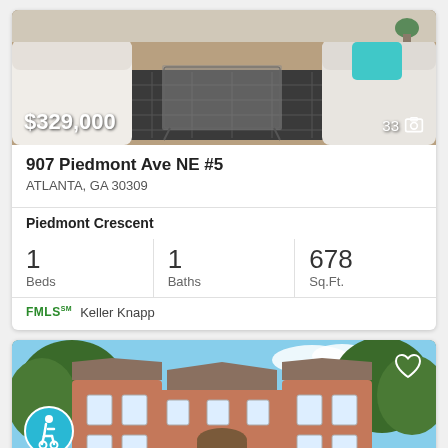[Figure (photo): Interior living room photo showing white sofas, glass coffee table, patterned rug on hardwood floor]
$329,000
33 📷
907 Piedmont Ave NE #5
ATLANTA, GA 30309
Piedmont Crescent
| Beds | Baths | Sq.Ft. |
| --- | --- | --- |
| 1 | 1 | 678 |
FMLS™ Keller Knapp
[Figure (photo): Exterior photo of brick multi-story residential building with trees, blue sky, and an accessibility icon overlay]